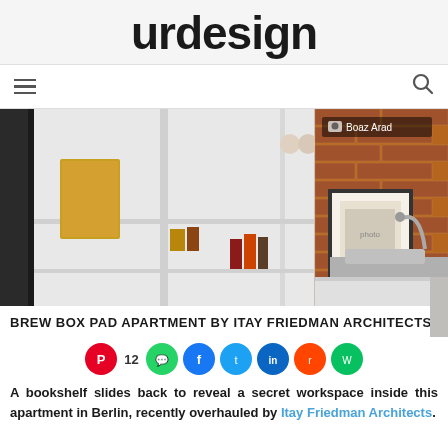urdesign
[Figure (photo): Interior apartment photo showing white shelving unit with books and bottles on the left, and a brick wall with framed artwork and kitchen sink on the right. Photo credit: Boaz Arad]
BREW BOX PAD APARTMENT BY ITAY FRIEDMAN ARCHITECTS
12 (social share count)
A bookshelf slides back to reveal a secret workspace inside this apartment in Berlin, recently overhauled by Itay Friedman Architects.